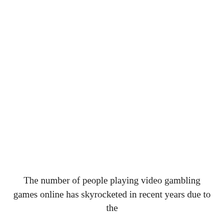The number of people playing video gambling games online has skyrocketed in recent years due to the